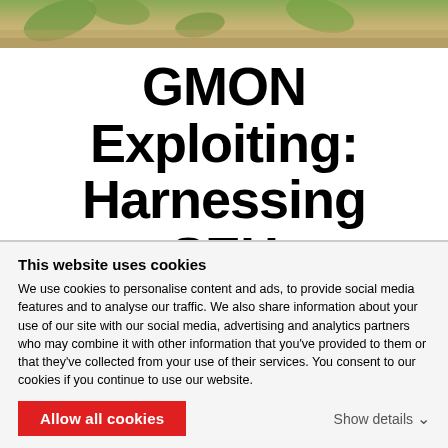[Figure (photo): Decorative photo banner at top of page showing green leaves and wooden background]
GMON Exploiting: Harnessing SEH
Exceptions are good
By Andres Roldan | June 16, 2020 | Category: Attacks
This website uses cookies
We use cookies to personalise content and ads, to provide social media features and to analyse our traffic. We also share information about your use of our site with our social media, advertising and analytics partners who may combine it with other information that you've provided to them or that they've collected from your use of their services. You consent to our cookies if you continue to use our website.
Allow all cookies
Show details